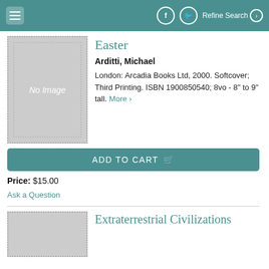≡  f  🐦  Refine Search ❯
[Figure (illustration): Book cover placeholder showing 'No Image' text on grey background with dotted border]
Easter
Arditti, Michael
London: Arcadia Books Ltd, 2000. Softcover; Third Printing. ISBN 1900850540; 8vo - 8" to 9" tall. More ›
ADD TO CART 🛒
Price: $15.00
Ask a Question
[Figure (illustration): Second book cover placeholder, grey with dotted border]
Extraterrestrial Civilizations